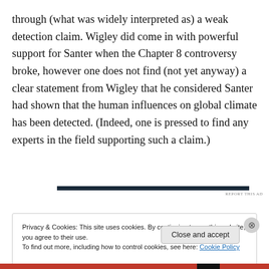through (what was widely interpreted as) a weak detection claim. Wigley did come in with powerful support for Santer when the Chapter 8 controversy broke, however one does not find (not yet anyway) a clear statement from Wigley that he considered Santer had shown that the human influences on global climate has been detected. (Indeed, one is pressed to find any experts in the field supporting such a claim.)
[Figure (other): Advertisement bar — dark navy horizontal rule with 'REPORT THIS AD' label]
Privacy & Cookies: This site uses cookies. By continuing to use this website, you agree to their use.
To find out more, including how to control cookies, see here: Cookie Policy